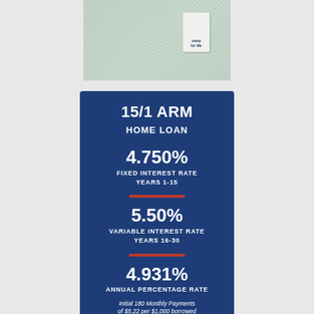[Figure (photo): Close-up of light green/grey knit fabric with a small white label tag visible on the right side]
15/1 ARM HOME LOAN
4.750%
FIXED INTEREST RATE YEARS 1-15
5.50%
VARIABLE INTEREST RATE YEARS 16-30
4.931%
ANNUAL PERCENTAGE RATE
Initial 180 Monthly Payments of $5.22 per $1,000 borrowed